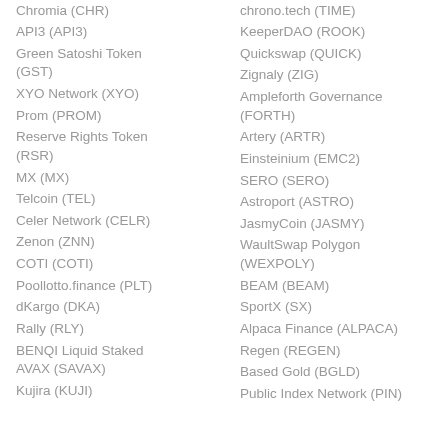Chromia (CHR)
API3 (API3)
Green Satoshi Token (GST)
XYO Network (XYO)
Prom (PROM)
Reserve Rights Token (RSR)
MX (MX)
Telcoin (TEL)
Celer Network (CELR)
Zenon (ZNN)
COTI (COTI)
Poollotto.finance (PLT)
dKargo (DKA)
Rally (RLY)
BENQI Liquid Staked AVAX (SAVAX)
Kujira (KUJI)
chrono.tech (TIME)
KeeperDAO (ROOK)
Quickswap (QUICK)
Zignaly (ZIG)
Ampleforth Governance (FORTH)
Artery (ARTR)
Einsteinium (EMC2)
SERO (SERO)
Astroport (ASTRO)
JasmyCoin (JASMY)
WaultSwap Polygon (WEXPOLY)
BEAM (BEAM)
SportX (SX)
Alpaca Finance (ALPACA)
Regen (REGEN)
Based Gold (BGLD)
Public Index Network (PIN)